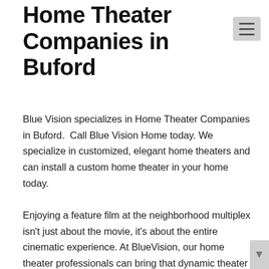Home Theater Companies in Buford
Blue Vision specializes in Home Theater Companies in Buford.  Call Blue Vision Home today. We specialize in customized, elegant home theaters and can install a custom home theater in your home today.
Enjoying a feature film at the neighborhood multiplex isn't just about the movie, it's about the entire cinematic experience. At BlueVision, our home theater professionals can bring that dynamic theater experience into the privacy and comfort of your own Atlanta home. From art film aficionados to die-hard action movie lovers, BlueVision can help homeowners dial in the perfect, custom-tailored experience. With Hi-Definition laser projectors, cinema quality film screens, 3D video, incredible surround sound systems, specialty home cinema lighting and luxurious theater seating, the only